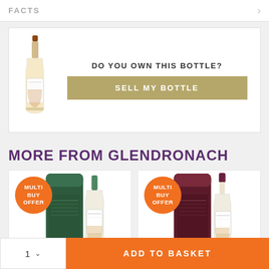FACTS
DO YOU OWN THIS BOTTLE?
SELL MY BOTTLE
MORE FROM GLENDRONACH
[Figure (photo): Two product images of Glendronach whisky bottles with green and dark red packaging, each showing a MULTI BUY OFFER badge]
1  ADD TO BASKET